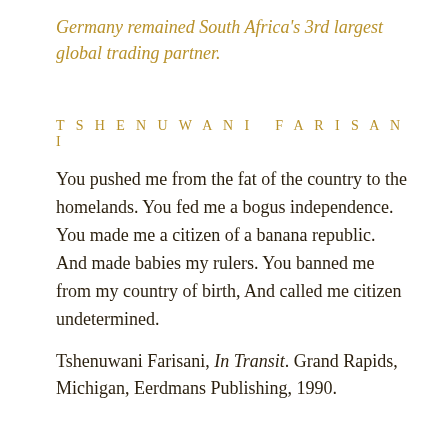Germany remained South Africa's 3rd largest global trading partner.
TSHENUWANI FARISANI
You pushed me from the fat of the country to the homelands. You fed me a bogus independence. You made me a citizen of a banana republic. And made babies my rulers. You banned me from my country of birth, And called me citizen undetermined.
Tshenuwani Farisani, In Transit. Grand Rapids, Michigan, Eerdmans Publishing, 1990.
GILLE DE VLIEG
[Figure (photo): Black and white photograph, partial view, dark tones]